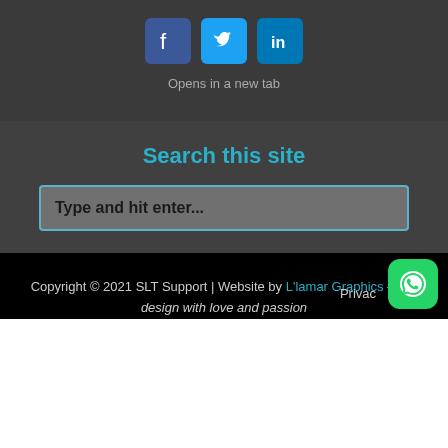[Figure (other): Three social media icon buttons: Facebook (dark blue), Twitter (blue), LinkedIn (blue)]
Opens in a new tab
Search this site
Type and hit enter...
Copyright © 2021 SLT Support | Website by L'lamar Graphics – We design with love and passion
Privac
[Figure (logo): WhatsApp green rounded square icon button]